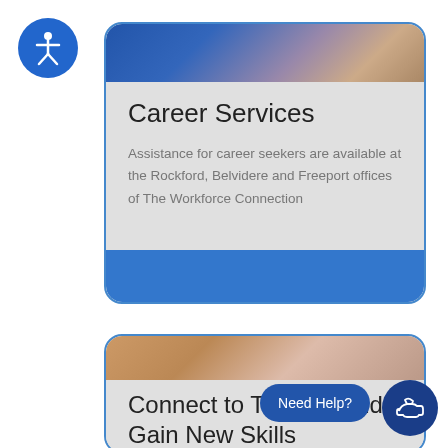[Figure (logo): Accessibility icon — white figure on blue circle]
[Figure (photo): Photo of wooden blocks/building materials with blue tones at top of card]
Career Services
Assistance for career seekers are available at the Rockford, Belvidere and Freeport offices of The Workforce Connection
[Figure (photo): Photo of hands holding wooden block at top of second card]
Connect to Training and Gain New Skills
Need Help?